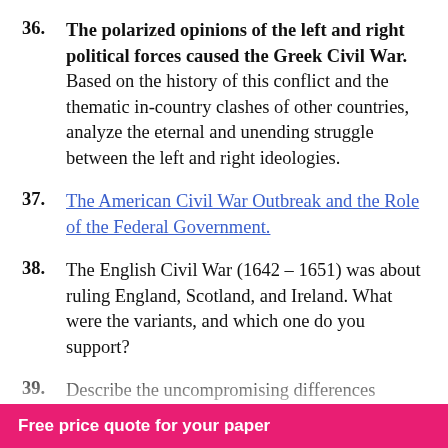36. The polarized opinions of the left and right political forces caused the Greek Civil War. Based on the history of this conflict and the thematic in-country clashes of other countries, analyze the eternal and unending struggle between the left and right ideologies.
37. The American Civil War Outbreak and the Role of the Federal Government.
38. The English Civil War (1642 – 1651) was about ruling England, Scotland, and Ireland. What were the variants, and which one do you support?
39. Describe the uncompromising differences between the free Northern States and the slave Southern states during the American Civil War.
40. [partial] ...Civil War in Sudan entail the ...hrough the referendum of
Free price quote for your paper